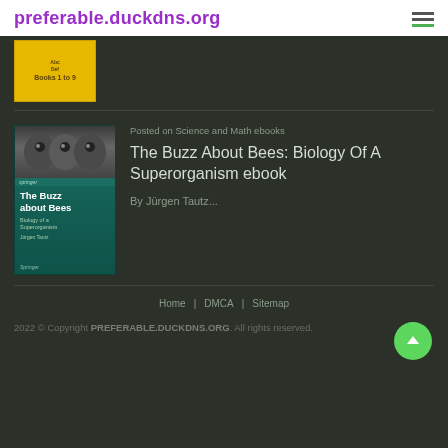preferable.duckdns.org
[Figure (photo): Partial book cover with yellow background and text 'Books 1 to 9']
[Figure (photo): Book cover of 'The Buzz about Bees: Biology of a Superorganism' by Jürgen Tautz, teal/dark green cover with bee images]
Posted on Science and Math ebooks
The Buzz About Bees: Biology Of A Superorganism ebook
By Jürgen Tautz...
Home   |   DMCA   |   Sitemap
2022 © Copyright PREFERABLE.DUCKDNS.ORG. All rights reserved.